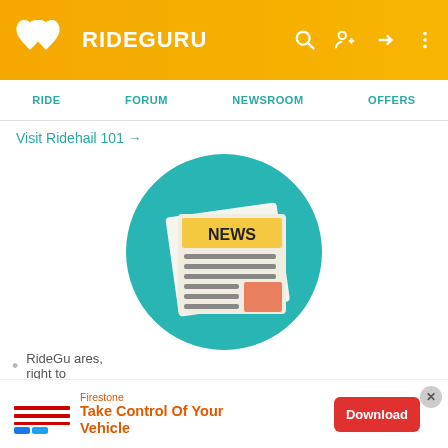RIDEGURU
RIDE  FORUM  NEWSROOM  OFFERS
Visit Ridehail 101 →
[Figure (illustration): Teal circular icon with a newspaper graphic showing 'NEWS' header, text lines, and a red/orange square block]
RideGuru Newsroom
Already an experienced rider? Love traveling the world? Come check out our regularly updated newsroom!
RideGu… ares, right to…
[Figure (other): Firestone advertisement: 'Take Control Of Your Vehicle' with Download button]